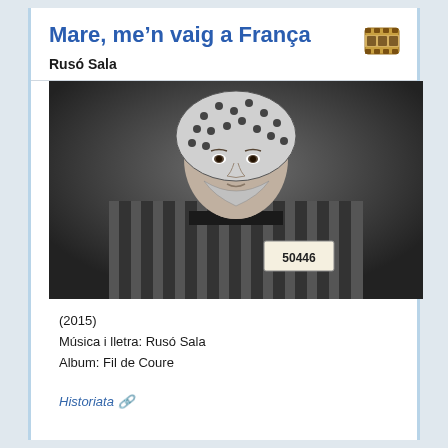Mare, me’n vaig a França
Rusó Sala
[Figure (photo): Black and white portrait photograph of a young woman wearing a polka-dot headscarf and a striped concentration camp uniform with a numbered badge reading '50446']
(2015)
Música i lletra: Rusó Sala
Album: Fil de Coure
Historiata